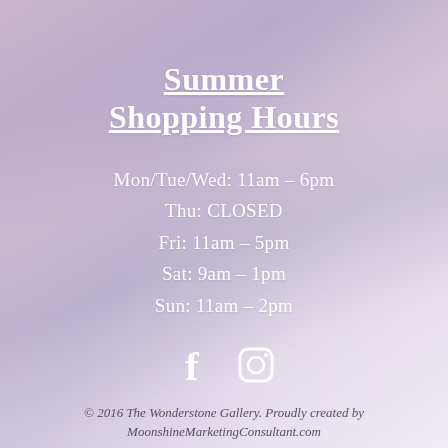Summer Shopping Hours
Mon/Tue/Wed: 11am – 6pm
Thu: CLOSED
Fri:  11am – 5pm
Sat: 9am – 1pm
Sun: 11am – 2pm
[Figure (illustration): Facebook and Instagram social media icons in white]
© 2016 The Wonderstone Gallery. Proudly created by MoonshineMarketingConsultant.com